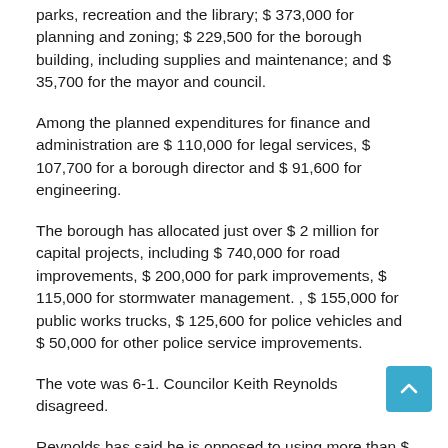parks, recreation and the library; $ 373,000 for planning and zoning; $ 229,500 for the borough building, including supplies and maintenance; and $ 35,700 for the mayor and council.
Among the planned expenditures for finance and administration are $ 110,000 for legal services, $ 107,700 for a borough director and $ 91,600 for engineering.
The borough has allocated just over $ 2 million for capital projects, including $ 740,000 for road improvements, $ 200,000 for park improvements, $ 115,000 for stormwater management. , $ 155,000 for public works trucks, $ 125,600 for police vehicles and $ 50,000 for other police service improvements.
The vote was 6-1. Councilor Keith Reynolds disagreed.
Reynolds has said he is opposed to using more than $ 680,000 in reserve funds to balance the budget.
“We spent (money) off the reserve telling residents that taxes